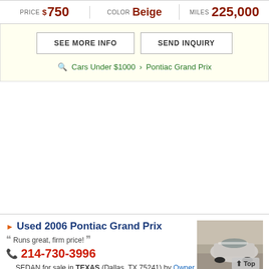PRICE $750 | COLOR Beige | MILES 225,000
SEE MORE INFO | SEND INQUIRY
Cars Under $1000 > Pontiac Grand Prix
Used 2006 Pontiac Grand Prix
Runs great, firm price!
214-730-3996
SEDAN for sale in TEXAS (Dallas, TX 75241) by Owner
[Figure (photo): Photo of a silver/white Pontiac Grand Prix sedan, seen from above-rear angle in a parking lot]